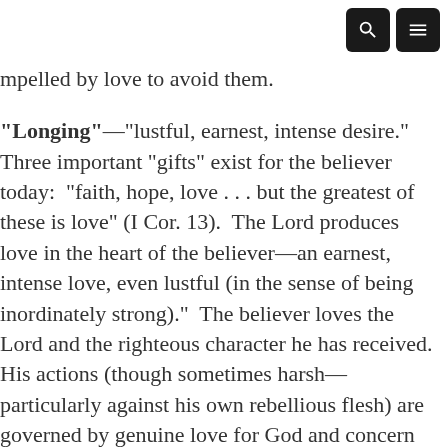[search icon] [menu icon]
mpelled by love to avoid them.
"Longing"—"lustful, earnest, intense desire." Three important "gifts" exist for the believer today: "faith, hope, love . . . but the greatest of these is love" (I Cor. 13). The Lord produces love in the heart of the believer—an earnest, intense love, even lustful (in the sense of being inordinately strong)." The believer loves the Lord and the righteous character he has received. His actions (though sometimes harsh—particularly against his own rebellious flesh) are governed by genuine love for God and concern for others.
"Zeal"—"heat, jealousy, ardor." Love works zeal; and a zealous saint is jealous for the Lord. No husband would take kindly any injury to his wife. So it is with the